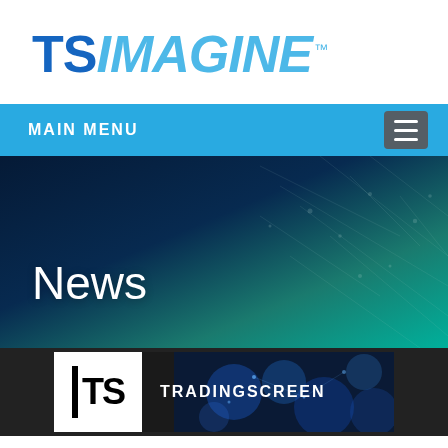[Figure (logo): TS Imagine logo — bold 'TS' in dark blue followed by italic 'IMAGINE' in light blue, with TM superscript]
MAIN MENU
[Figure (photo): Dark navy to teal/green gradient hero banner with white network lines, containing large white text 'News']
News
[Figure (logo): TradingScreen card thumbnail: white TS logo (vertical bar + TS letters) on dark background with 'TRADINGSCREEN' text and blue bokeh background]